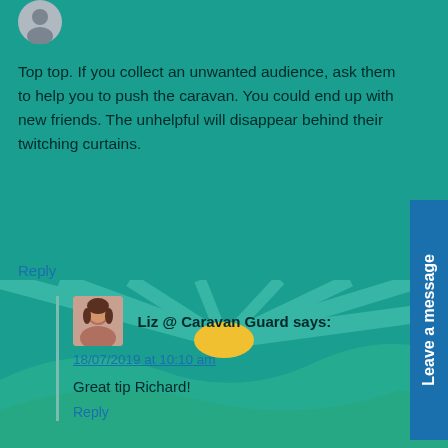[Figure (illustration): Small grey avatar icon at top left]
Top top. If you collect an unwanted audience, ask them to help you to push the caravan. You could end up with new friends. The unhelpful will disappear behind their twitching curtains.
Reply
[Figure (photo): Photo of Liz from Caravan Guard]
Liz @ Caravan Guard says:
18/07/2019 at 10:10 am
Great tip Richard!
Reply
[Figure (illustration): Grey avatar icon for Anthony Newman]
Anthony Newman says:
Perfect information for all to follow.Been an HGV Driver for 50+ somit looks easy but we all Make
Leave a message